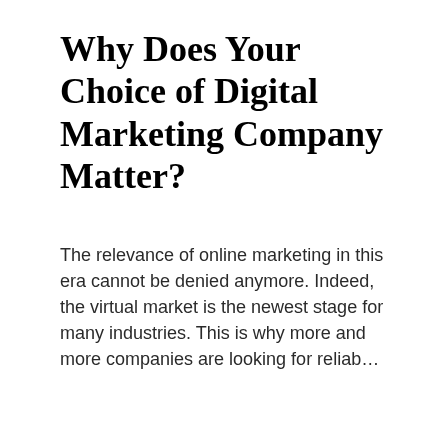Why Does Your Choice of Digital Marketing Company Matter?
The relevance of online marketing in this era cannot be denied anymore. Indeed, the virtual market is the newest stage for many industries. This is why more and more companies are looking for reliab...
Daily Bulletin
[Figure (photo): Construction site with scaffolding and cranes against a blue sky]